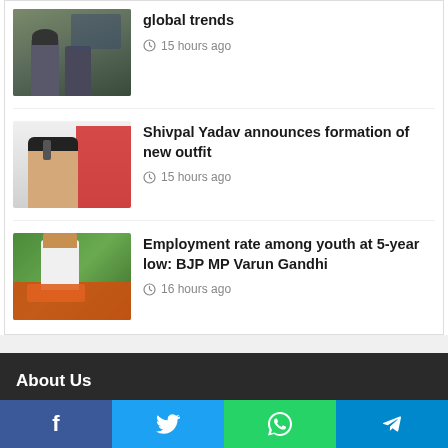[Figure (photo): Thumbnail of police/security personnel scene]
global trends
15 hours ago
[Figure (photo): Thumbnail of Shivpal Yadav speaking at rally with red banner]
Shivpal Yadav announces formation of new outfit
15 hours ago
[Figure (photo): Thumbnail of BJP MP Varun Gandhi speaking with orange scarf]
Employment rate among youth at 5-year low: BJP MP Varun Gandhi
16 hours ago
About Us
f  t  WhatsApp  Telegram